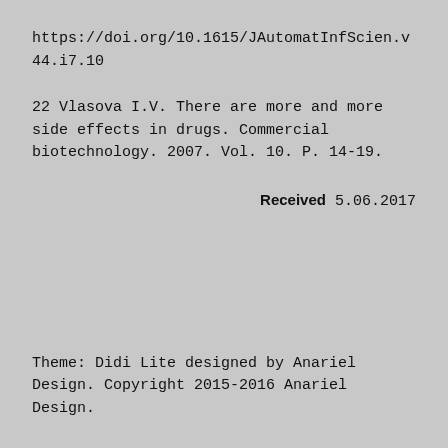https://doi.org/10.1615/JAutomatInfScien.v44.i7.10
22 Vlasova I.V. There are more and more side effects in drugs. Commercial biotechnology. 2007. Vol. 10. P. 14-19.
Received 5.06.2017
Theme: Didi Lite designed by Anariel Design. Copyright 2015-2016 Anariel Design.